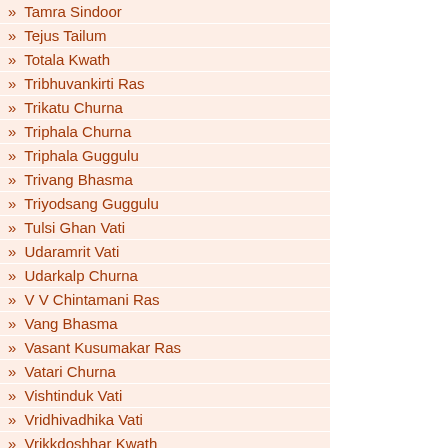» Tamra Sindoor
» Tejus Tailum
» Totala Kwath
» Tribhuvankirti Ras
» Trikatu Churna
» Triphala Churna
» Triphala Guggulu
» Trivang Bhasma
» Triyodsang Guggulu
» Tulsi Ghan Vati
» Udaramrit Vati
» Udarkalp Churna
» V V Chintamani Ras
» Vang Bhasma
» Vasant Kusumakar Ras
» Vatari Churna
» Vishtinduk Vati
» Vridhivadhika Vati
» Vrikkdoshhar Kwath
» Vrikkdoshhar Vati
» Yogender Ras
» Yograj Guggulu
» Youvnamrit Vati
VCD
» Divya Yoga Sadhna VCD in English
» Divya Yoga Sadhna VCD in Hindi
» Yoga VCD for reducing Obesity